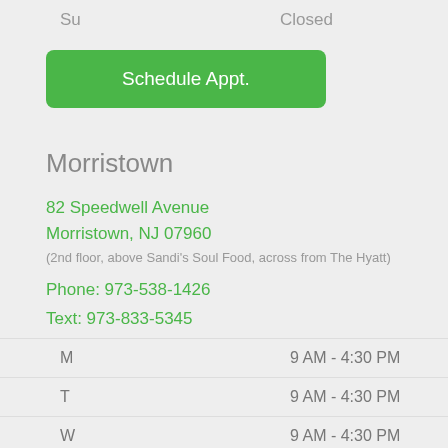| Day | Hours |
| --- | --- |
| Su | Closed |
Schedule Appt.
Morristown
82 Speedwell Avenue
Morristown, NJ 07960
(2nd floor, above Sandi's Soul Food, across from The Hyatt)
Phone: 973-538-1426
Text: 973-833-5345
| Day | Hours |
| --- | --- |
| M | 9 AM - 4:30 PM |
| T | 9 AM - 4:30 PM |
| W | 9 AM - 4:30 PM |
| Th | 9 AM - 6 PM |
| F | 11 AM - 3 PM |